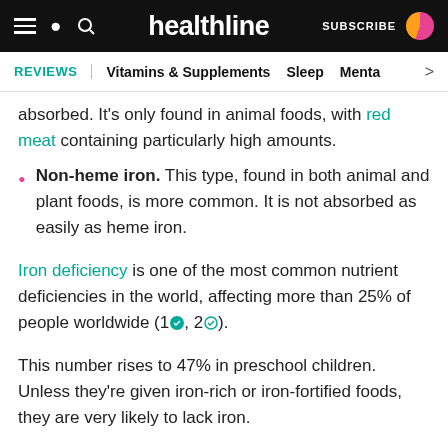healthline — SUBSCRIBE
REVIEWS | Vitamins & Supplements  Sleep  Menta >
absorbed. It's only found in animal foods, with red meat containing particularly high amounts.
Non-heme iron. This type, found in both animal and plant foods, is more common. It is not absorbed as easily as heme iron.
Iron deficiency is one of the most common nutrient deficiencies in the world, affecting more than 25% of people worldwide (1, 2).
This number rises to 47% in preschool children. Unless they're given iron-rich or iron-fortified foods, they are very likely to lack iron.